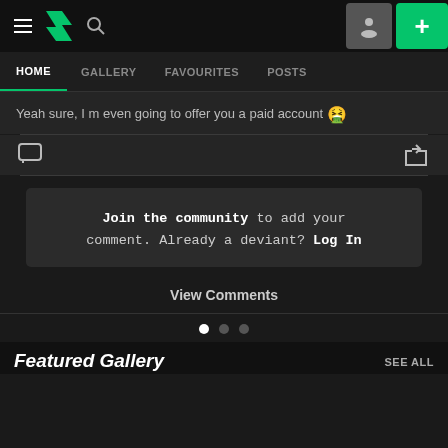DeviantArt navigation bar with hamburger menu, DA logo, search, profile, and plus button
HOME | GALLERY | FAVOURITES | POSTS
Yeah sure, I m even going to offer you a paid account 😷
Join the community to add your comment. Already a deviant? Log In
View Comments
[Figure (other): Carousel pagination dots — one white (active), two grey]
Featured Gallery
SEE ALL